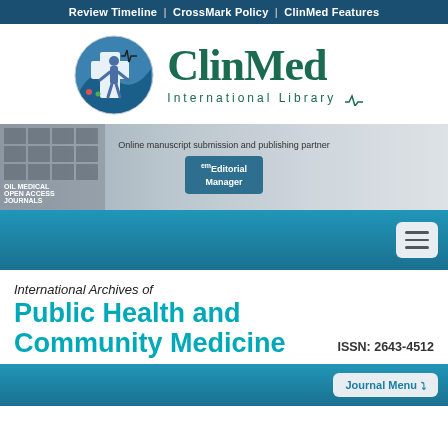Review Timeline | CrossMark Policy | ClinMed Features
[Figure (logo): ClinMed International Library logo with circular emblem showing medical/human figure and ECG line, plus text 'ClinMed International Library']
[Figure (screenshot): Banner image showing 'Online manuscript submission and publishing partner' with Editorial Manager button, overlaid on blurred laptop background with journal cover thumbnails on the left]
[Figure (screenshot): Teal navigation bar with hamburger menu button on right]
International Archives of
Public Health and Community Medicine
ISSN: 2643-4512
[Figure (screenshot): Teal bar at bottom with 'Journal Menu' button on right]